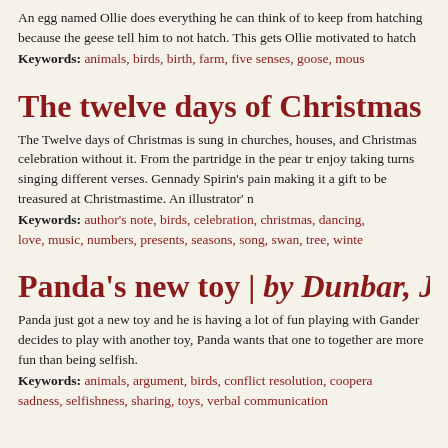An egg named Ollie does everything he can think of to keep from hatching because the geese tell him to not hatch. This gets Ollie motivated to hatch...
Keywords: animals, birds, birth, farm, five senses, goose, mous...
The twelve days of Christmas | b...
The Twelve days of Christmas is sung in churches, houses, and ... Christmas celebration without it. From the partridge in the pear tr... enjoy taking turns singing different verses. Gennady Spirin's pain... making it a gift to be treasured at Christmastime. An illustrator' n...
Keywords: author's note, birds, celebration, christmas, dancing,... love, music, numbers, presents, seasons, song, swan, tree, winte...
Panda's new toy | by Dunbar, Jo...
Panda just got a new toy and he is having a lot of fun playing with... Gander decides to play with another toy, Panda wants that one to... together are more fun than being selfish.
Keywords: animals, argument, birds, conflict resolution, coopera... sadness, selfishness, sharing, toys, verbal communication